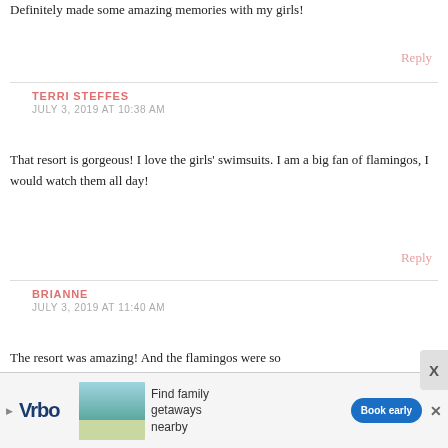Definitely made some amazing memories with my girls!
Reply
TERRI STEFFES
JULY 3, 2019 AT 10:38 AM
That resort is gorgeous! I love the girls' swimsuits. I am a big fan of flamingos, I would watch them all day!
Reply
BRIANNE
JULY 3, 2019 AT 11:40 AM
The resort was amazing! And the flamingos were so
[Figure (other): Vrbo advertisement banner with logo, beach house image, text 'Find family getaways nearby', and 'Book early' button]